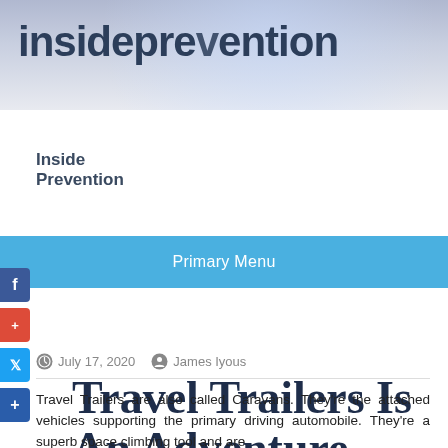insideprevention
Inside Prevention
Primary Menu
Travel Trailers Is An Adventure
July 17, 2020   James Iyous
Travel Trailers are also called Caravans. They're the attached vehicles supporting the primary driving automobile. They're a superb space climbing tool and are